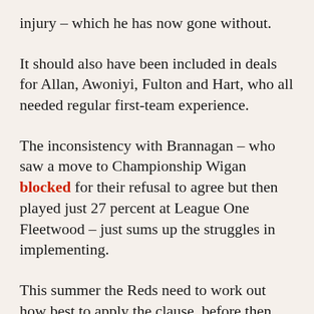injury – which he has now gone without.
It should also have been included in deals for Allan, Awoniyi, Fulton and Hart, who all needed regular first-team experience.
The inconsistency with Brannagan – who saw a move to Championship Wigan blocked for their refusal to agree but then played just 27 percent at League One Fleetwood – just sums up the struggles in implementing.
This summer the Reds need to work out how best to apply the clause, before then making sure it features in every deal to maximise the potential development and value of all players –